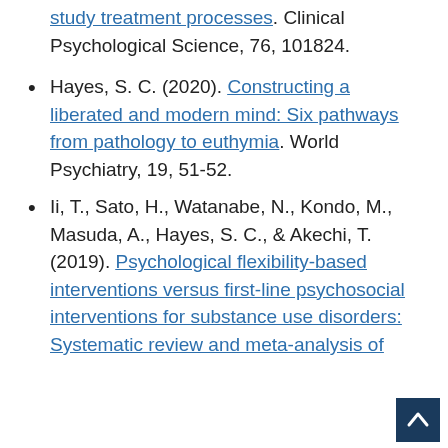study treatment processes. Clinical Psychological Science, 76, 101824.
Hayes, S. C. (2020). Constructing a liberated and modern mind: Six pathways from pathology to euthymia. World Psychiatry, 19, 51-52.
Ii, T., Sato, H., Watanabe, N., Kondo, M., Masuda, A., Hayes, S. C., & Akechi, T. (2019). Psychological flexibility-based interventions versus first-line psychosocial interventions for substance use disorders: Systematic review and meta-analysis of randomized controlled trials.